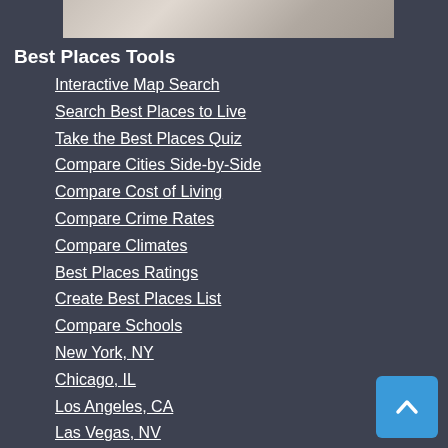[Figure (photo): Partial image strip at top of page showing a person, cropped]
Best Places Tools
Interactive Map Search
Search Best Places to Live
Take the Best Places Quiz
Compare Cities Side-by-Side
Compare Cost of Living
Compare Crime Rates
Compare Climates
Best Places Ratings
Create Best Places List
Compare Schools
New York, NY
Chicago, IL
Los Angeles, CA
Las Vegas, NV
Houston, TX
Miami, FL